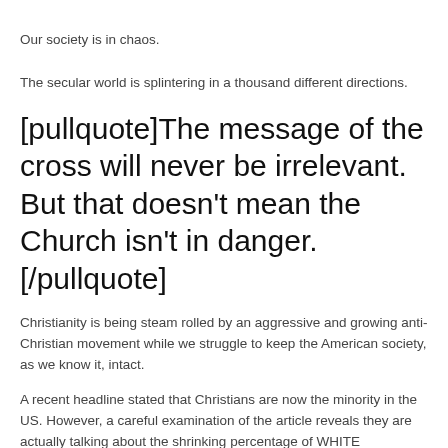Our society is in chaos.
The secular world is splintering in a thousand different directions.
[pullquote]The message of the cross will never be irrelevant. But that doesn't mean the Church isn't in danger.[/pullquote]
Christianity is being steam rolled by an aggressive and growing anti-Christian movement while we struggle to keep the American society, as we know it, intact.
A recent headline stated that Christians are now the minority in the US. However, a careful examination of the article reveals they are actually talking about the shrinking percentage of WHITE Christians;... as if the color of a Christian's skin is relevant.